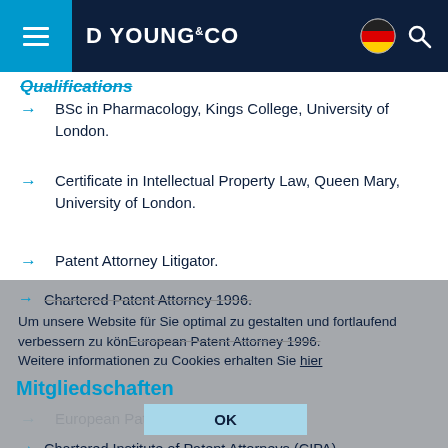D YOUNG & CO
BSc in Pharmacology, Kings College, University of London.
Certificate in Intellectual Property Law, Queen Mary, University of London.
Patent Attorney Litigator.
Chartered Patent Attorney 1996.
European Patent Attorney 1996.
Um unsere Website für Sie optimal zu gestalten und fortlaufend verbessern zu können, Weitere informationen zu Cookies erhalten Sie hier
Mitgliedschaften
Chartered Institute of Patent Attorneys (CIPA).
European Patent Institute (epi).